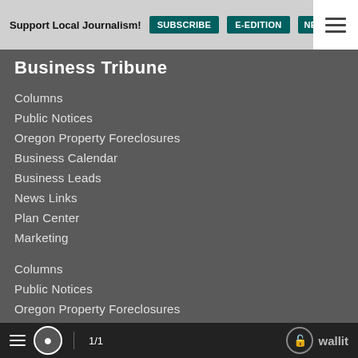Support Local Journalism! SUBSCRIBE  E-EDITION  NEWSLET…
Business Tribune
Columns
Public Notices
Oregon Property Foreclosures
Business Calendar
Business Leads
News Links
Plan Center
Marketing
Columns
Public Notices
Oregon Property Foreclosures
Business Calendar
Business Leads
News Links
Plan Center
Marketing
1/1  wallit